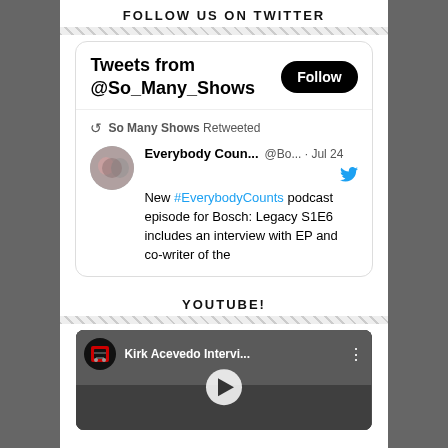FOLLOW US ON TWITTER
[Figure (screenshot): Twitter widget showing 'Tweets from @So_Many_Shows' with a Follow button and a retweet from Everybody Coun... @Bo... Jul 24 about #EverybodyCounts podcast episode for Bosch: Legacy S1E6]
YOUTUBE!
[Figure (screenshot): YouTube video thumbnail for 'Kirk Acevedo Intervi...' with play button overlay]